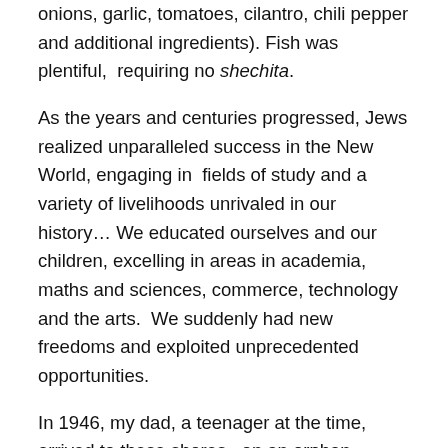onions, garlic, tomatoes, cilantro, chili pepper and additional ingredients). Fish was plentiful,  requiring no shechita.
As the years and centuries progressed, Jews realized unparalleled success in the New World, engaging in  fields of study and a variety of livelihoods unrivaled in our history… We educated ourselves and our children, excelling in areas in academia, maths and sciences, commerce, technology and the arts.  We suddenly had new freedoms and exploited unprecedented opportunities.
In 1946, my dad, a teenager at the time, arrived to these shores,  on an orphan transport boat called the Ernie Pyle. In his hand was a shabby little suitcase that contained his Tefillin and a herring. Shortly after his arrival,